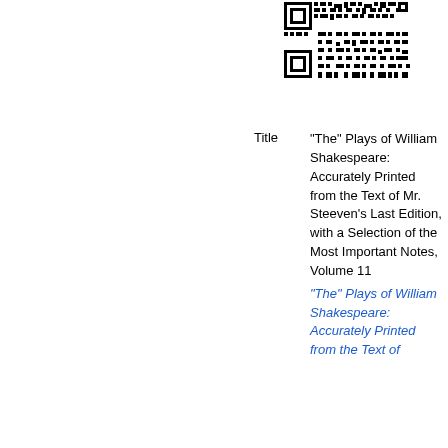[Figure (other): QR code in upper right area]
Title	"The" Plays of William Shakespeare: Accurately Printed from the Text of Mr. Steeven's Last Edition, with a Selection of the Most Important Notes, Volume 11
"The" Plays of William Shakespeare: Accurately Printed from the Text of